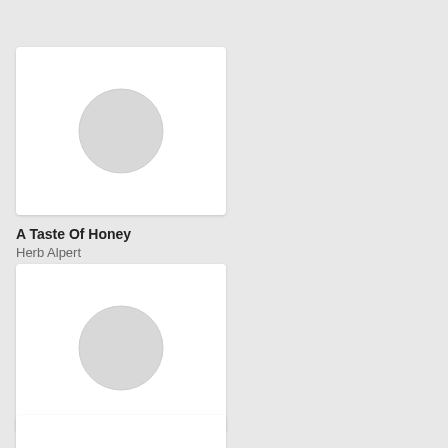[Figure (illustration): Album art placeholder with white background and light grey circle in center for A Taste Of Honey]
A Taste Of Honey
Herb Alpert
[Figure (illustration): Album art placeholder with white background and light grey circle in center for Portal Practice]
Portal Practice
Eric Palmer, Val Gaina
[Figure (illustration): Album art placeholder with white background, partially visible at bottom of page]